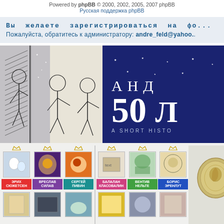Powered by phpBB © 2000, 2002, 2005, 2007 phpBB
Русская поддержка phpBB
Вы желаете зарегистрироваться на фо...
Пожалуйста, обратитесь к администратору: andre_feld@yahoo...
[Figure (illustration): Banner with cartoon illustration on left (black and white line art showing comic characters) and dark blue background on right with large text: АНД, 50, A SHORT HISTO]
[Figure (illustration): Grid of book covers with colored labels: ЭРИХ СЮЖЕТСЕН, ВРЕСЛАВ СИЛАВ, СЕРГЕЙ ПИВИН, БАЛАЛАН КЛАСОВАЛИН, ВЕНТИВ НЕЛЬТЕ, БОРИС ЭРЕНЛУТ; and a second row of book cover thumbnails; rightmost section shows МАСТЕР text with decorative coin/medal image]